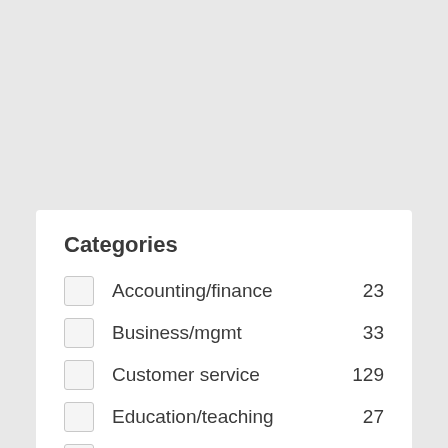Categories
Accounting/finance 23
Business/mgmt 33
Customer service 129
Education/teaching 27
Architect/engineer/CAD 7
Et cetera 5559